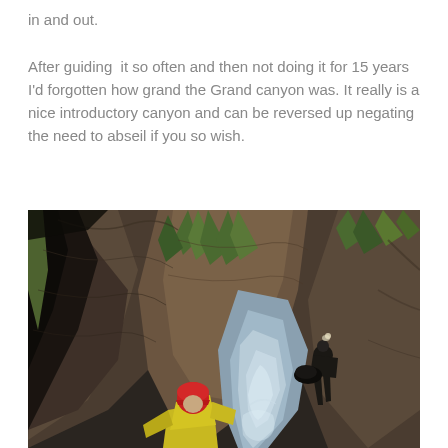in and out.

After guiding  it so often and then not doing it for 15 years I'd forgotten how grand the Grand canyon was. It really is a nice introductory canyon and can be reversed up negating the need to abseil if you so wish.
[Figure (photo): A canyon scene with rocky sandstone walls, ferns and vegetation, a small waterfall or stream, and two people in outdoor gear — one in the foreground wearing a red helmet and yellow jacket, another in the background wearing dark clothing and a headlamp.]